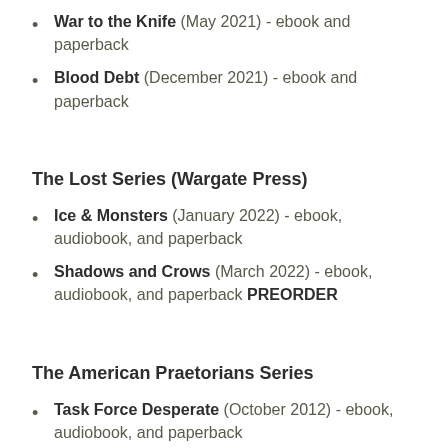War to the Knife (May 2021) - ebook and paperback
Blood Debt (December 2021) - ebook and paperback
The Lost Series (Wargate Press)
Ice & Monsters (January 2022) - ebook, audiobook, and paperback
Shadows and Crows (March 2022) - ebook, audiobook, and paperback PREORDER
The American Praetorians Series
Task Force Desperate (October 2012) - ebook, audiobook, and paperback